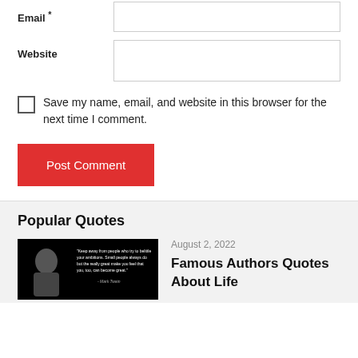Email *
Website
Save my name, email, and website in this browser for the next time I comment.
Post Comment
Popular Quotes
August 2, 2022
[Figure (photo): Black and white photo of Mark Twain with quote text overlay reading 'Keep away from people who try to belittle your ambitions. Small people always do that, but the really great make you feel that you, too, can become great.' - Mark Twain]
Famous Authors Quotes About Life